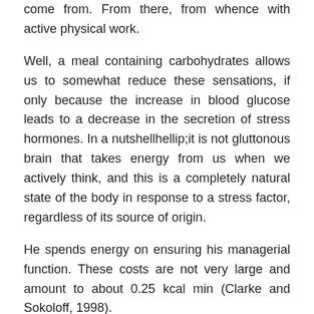come from. From there, from whence with active physical work.
Well, a meal containing carbohydrates allows us to somewhat reduce these sensations, if only because the increase in blood glucose leads to a decrease in the secretion of stress hormones. In a nutshellhellip;it is not gluttonous brain that takes energy from us when we actively think, and this is a completely natural state of the body in response to a stress factor, regardless of its source of origin.
He spends energy on ensuring his managerial function. These costs are not very large and amount to about 0.25 kcal min (Clarke and Sokoloff, 1998).
Benefits of using Steroids For Women
Then where does the feeling of fatigue and exhaustion